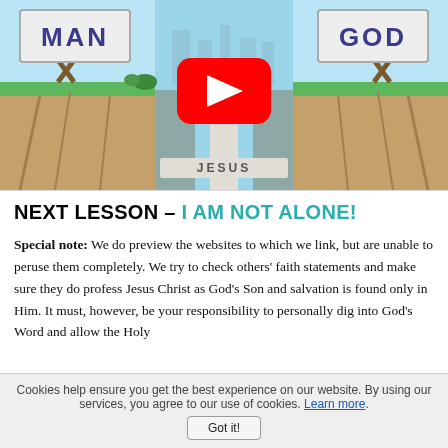[Figure (screenshot): Animated video thumbnail showing a cross labeled JESUS bridging a canyon between two cliffs, with billboards labeled MAN and GOD on each side. A YouTube play button overlay is shown in the center.]
NEXT LESSON - I AM NOT ALONE!
Special note: We do preview the websites to which we link, but are unable to peruse them completely. We try to check others' faith statements and make sure they do profess Jesus Christ as God's Son and salvation is found only in Him. It must, however, be your responsibility to personally dig into God's Word and allow the Holy
Cookies help ensure you get the best experience on our website. By using our services, you agree to our use of cookies. Learn more. Got it!